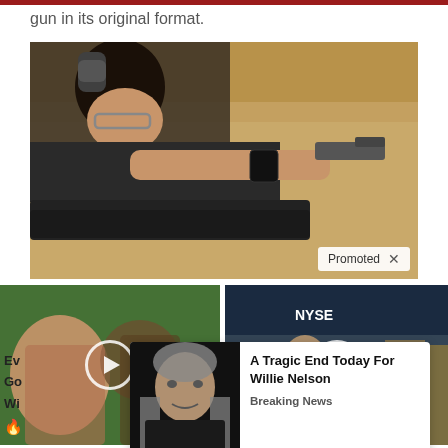gun in its original format.
[Figure (photo): Man wearing ear protection and glasses aiming a pistol at a shooting range, with a sandy earth berm in the background. A 'Promoted X' badge is in the bottom-right corner.]
[Figure (photo): Two video thumbnail images side by side. Left: two women outdoors with a play button overlay. Right: man in suit at NYSE with a play button overlay.]
[Figure (photo): Overlay advertisement card showing an elderly man (Willie Nelson) with headline 'A Tragic End Today For Willie Nelson' and subtext 'Breaking News'.]
Ev
Go
Wi
A Tragic End Today For Willie Nelson
Breaking News